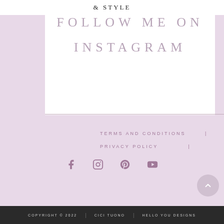& STYLE
FOLLOW ME ON INSTAGRAM
TERMS AND CONDITIONS  |
PRIVACY POLICY  |
[Figure (other): Social media icons: Facebook, Instagram, Pinterest, YouTube]
COPYRIGHT © 2022  |  CICI TUONO  |  HELLO YOU DESIGNS